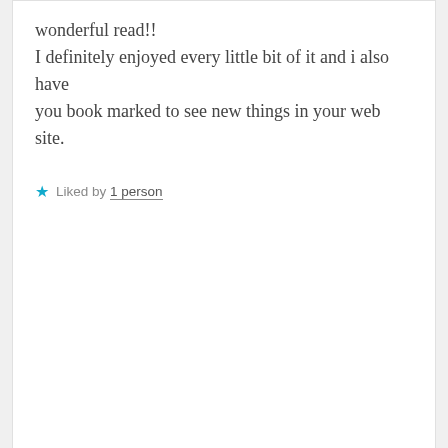wonderful read!!
I definitely enjoyed every little bit of it and i also have
you book marked to see new things in your web site.
★ Liked by 1 person
↳ Reply
James Sweeney says:
July 31, 2019 at 11:48 am
Thank you very much! Hope you enjoy the rest of the blogs!
Advertisements
[Figure (infographic): Advertisement banner: dark navy background with tree/person icon, teal text 'Launch your online course with WordPress', white 'Learn More' button text with underline]